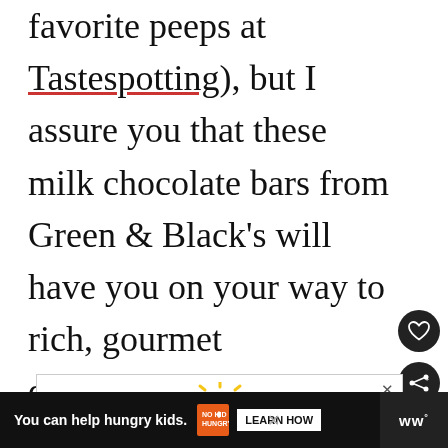favorite peeps at Tastespotting), but I assure you that these milk chocolate bars from Green & Black's will have you on your way to rich, gourmet deliciousness with my delicious Peanut-studded Milk Chocolate Brownies.
[Figure (illustration): Advertisement with Ukraine-themed heart/bird illustration in blue and yellow]
[Figure (infographic): Bottom banner ad: 'You can help hungry kids.' with No Kid Hungry logo and Learn How button]